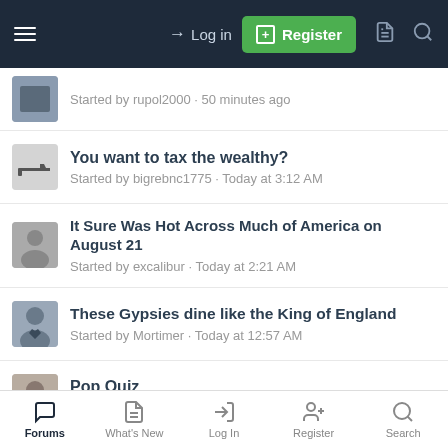Log in | Register
Started by rupol2000 · 50 minutes ago
You want to tax the wealthy? Started by bigrebnc1775 · Today at 3:12 AM
It Sure Was Hot Across Much of America on August 21 Started by excalibur · Today at 2:21 AM
These Gypsies dine like the King of England Started by Mortimer · Today at 12:57 AM
Pop Quiz Started by fncceo · Today at 12:57 AM
Black woman pretending to be stranded motorist...kills
Forums | What's New | Log In | Register | Search